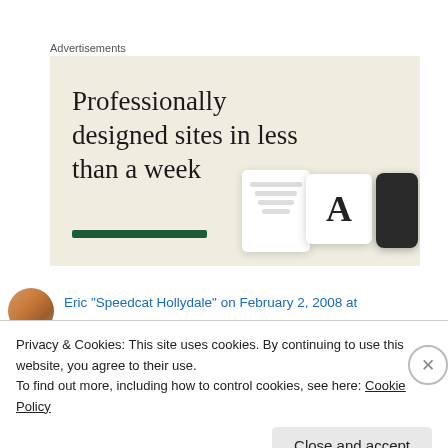Advertisements
[Figure (illustration): Advertisement banner with beige/cream background. Large serif text reads 'Professionally designed sites in less than a week'. Green horizontal bar below text. Right side shows white card mockups including one with letter 'A' and a dark phone device.]
Eric "Speedcat Hollydale" on February 2, 2008 at
Privacy & Cookies: This site uses cookies. By continuing to use this website, you agree to their use.
To find out more, including how to control cookies, see here: Cookie Policy
Close and accept